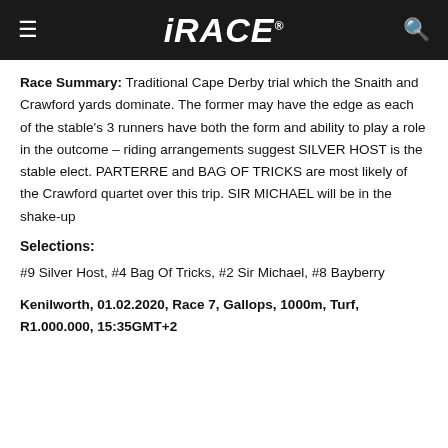iRACE
Race Summary: Traditional Cape Derby trial which the Snaith and Crawford yards dominate. The former may have the edge as each of the stable's 3 runners have both the form and ability to play a role in the outcome – riding arrangements suggest SILVER HOST is the stable elect. PARTERRE and BAG OF TRICKS are most likely of the Crawford quartet over this trip. SIR MICHAEL will be in the shake-up
Selections:
#9 Silver Host, #4 Bag Of Tricks, #2 Sir Michael, #8 Bayberry
Kenilworth, 01.02.2020, Race 7, Gallops, 1000m, Turf, R1.000.000, 15:35GMT+2